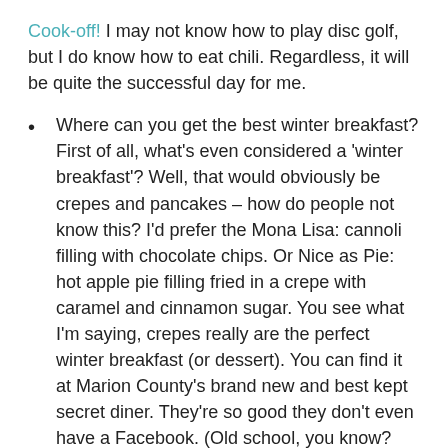Cook-off! I may not know how to play disc golf, but I do know how to eat chili. Regardless, it will be quite the successful day for me.
Where can you get the best winter breakfast? First of all, what's even considered a 'winter breakfast'? Well, that would obviously be crepes and pancakes – how do people not know this? I'd prefer the Mona Lisa: cannoli filling with chocolate chips. Or Nice as Pie: hot apple pie filling fried in a crepe with caramel and cinnamon sugar. You see what I'm saying, crepes really are the perfect winter breakfast (or dessert). You can find it at Marion County's brand new and best kept secret diner. They're so good they don't even have a Facebook. (Old school, you know? Now, that's my kind of crepe.) Find Full Circle Diner in Rivesville (153 Main Street).
With that, my Marion Bucket List 2018 concludes. This has